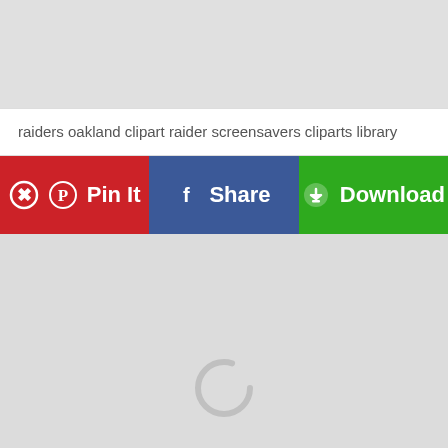[Figure (screenshot): Top gray placeholder area]
raiders oakland clipart raider screensavers cliparts library
[Figure (screenshot): Three action buttons: Pin It (red), Share (blue), Download (green)]
[Figure (screenshot): Large gray content area with a loading spinner in the lower center]